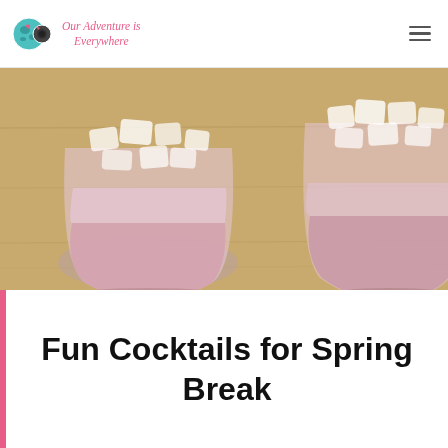Our Adventure is Everywhere
[Figure (photo): Two stemless glasses filled with pink cocktails and ice cubes, sitting on a wooden surface.]
Fun Cocktails for Spring Break